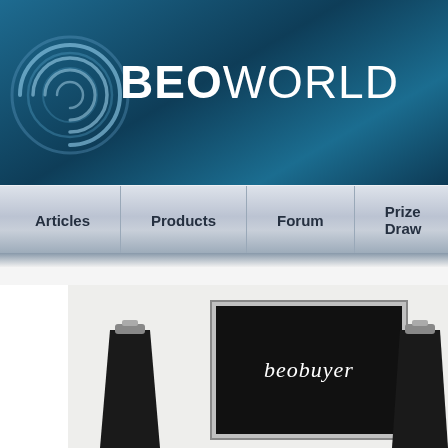[Figure (screenshot): BEOWORLD website header with spiral logo icon and bold BEOWORLD text on dark teal/blue gradient background]
BEOWORLD
Articles
Products
Forum
Prize Draw
FAQs
[Figure (photo): Product photo showing Bang & Olufsen speakers (black trapezoid shaped) flanking a flat screen display showing 'beobuyer' in white italic script on black background, set against a white/light grey studio backdrop]